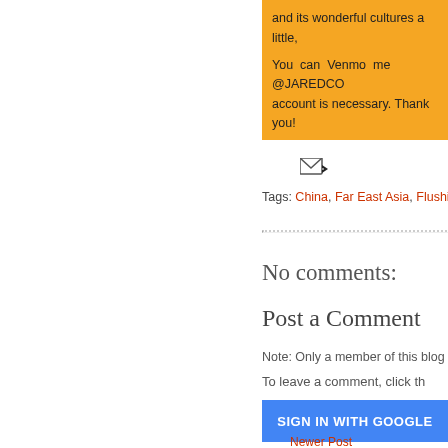and its wonderful cultures a little, please consider doing so. Eat the W money and time everyday to keep
You can Venmo me @JAREDCO account is necessary. Thank you!
[Figure (illustration): Email forward icon - envelope with arrow]
Tags: China, Far East Asia, Flushing,
No comments:
Post a Comment
Note: Only a member of this blog may p
To leave a comment, click th
SIGN IN WITH GOOGLE
Newer Post